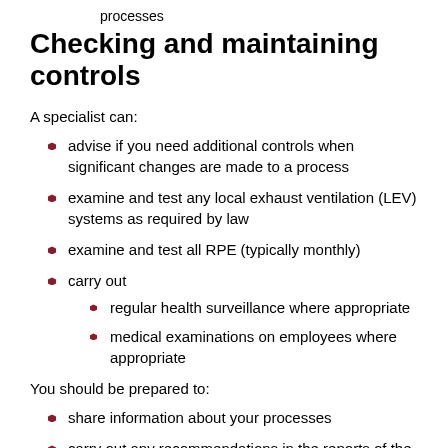processes
Checking and maintaining controls
A specialist can:
advise if you need additional controls when significant changes are made to a process
examine and test any local exhaust ventilation (LEV) systems as required by law
examine and test all RPE (typically monthly)
carry out
regular health surveillance where appropriate
medical examinations on employees where appropriate
You should be prepared to:
share information about your processes
carry out any recommendations in the reports of the LEV